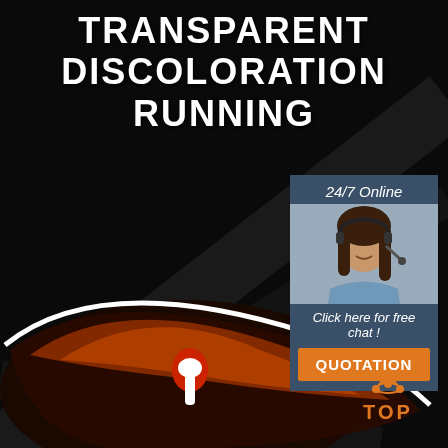TRANSPARENT DISCOLORATION RUNNING
[Figure (photo): Product advertisement showing sport sunglasses with white and red frame, mirrored orange lenses, on dark background]
[Figure (photo): 24/7 Online customer service agent — smiling woman with headset, blue shirt]
24/7 Online
Click here for free chat !
QUOTATION
[Figure (logo): TOP brand orange logo with tent/crown icon above the word TOP]